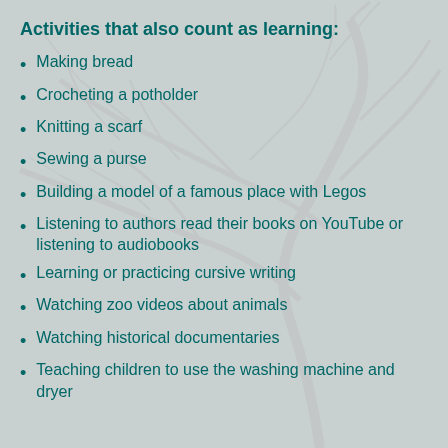Activities that also count as learning:
Making bread
Crocheting a potholder
Knitting a scarf
Sewing a purse
Building a model of a famous place with Legos
Listening to authors read their books on YouTube or listening to audiobooks
Learning or practicing cursive writing
Watching zoo videos about animals
Watching historical documentaries
Teaching children to use the washing machine and dryer